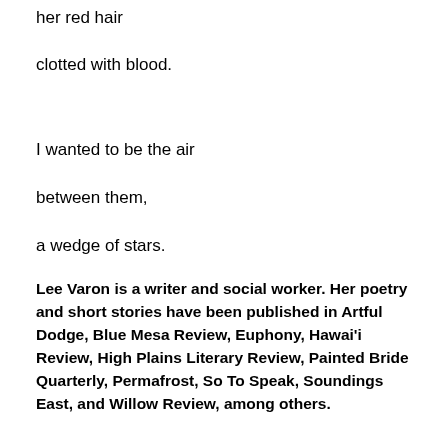her red hair
clotted with blood.
I wanted to be the air
between them,
a wedge of stars.
Lee Varon is a writer and social worker. Her poetry and short stories have been published in Artful Dodge, Blue Mesa Review, Euphony, Hawai'i Review, High Plains Literary Review, Painted Bride Quarterly, Permafrost, So To Speak, Soundings East, and Willow Review, among others.